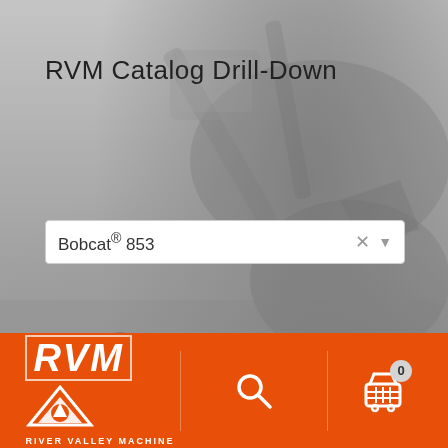RVM Catalog Drill-Down
Bobcat® 853
Search RVM Catalog
Search RVM Catalog...
RVM FAQ – Frequently Asked Questions
[Figure (logo): RVM River Valley Machine logo with triangle arrow icon, white on orange background. Bottom navigation bar with search icon and shopping cart with badge showing 0.]